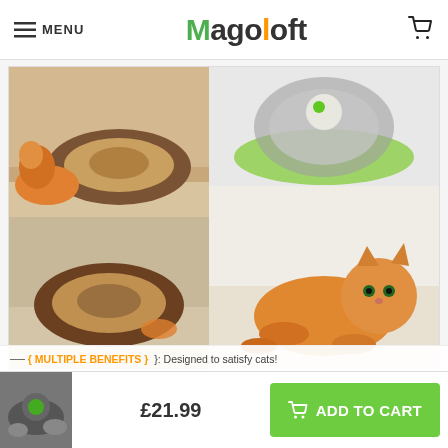MENU | Magoloft | (cart icon)
[Figure (photo): Product photo collage: top-left shows orange cat with brown donut-shaped cardboard scratcher, bottom-left shows the donut scratcher alone on wood floor, right-top shows the scratcher collapsed with a ball toy and green base, right-bottom shows orange kitten playing on its back.]
{ MULTIPLE BENEFITS }: Designed to satisfy cats!
[Figure (photo): Small thumbnail of cats with scratcher toy]
£21.99
ADD TO CART